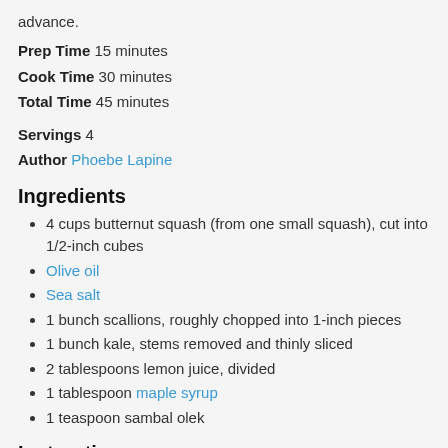advance.
Prep Time  15 minutes
Cook Time  30 minutes
Total Time  45 minutes
Servings  4
Author  Phoebe Lapine
Ingredients
4 cups butternut squash (from one small squash), cut into 1/2-inch cubes
Olive oil
Sea salt
1 bunch scallions, roughly chopped into 1-inch pieces
1 bunch kale, stems removed and thinly sliced
2 tablespoons lemon juice, divided
1 tablespoon maple syrup
1 teaspoon sambal olek
Instructions
1. Preheat the oven to 425 degrees F.